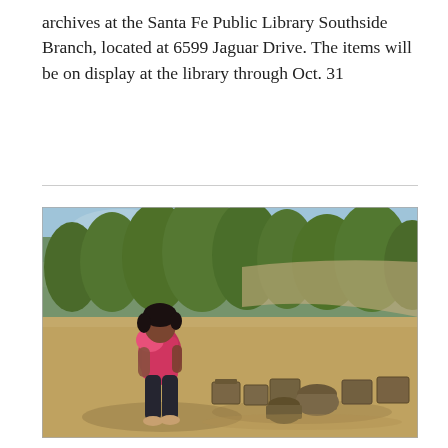archives at the Santa Fe Public Library Southside Branch, located at 6599 Jaguar Drive. The items will be on display at the library through Oct. 31
[Figure (photo): A woman wearing a pink top and dark pants stands outdoors on a dirt path surrounded by trees and brush. In front of her on the ground are several old, dusty boxes and containers arranged in a row.]